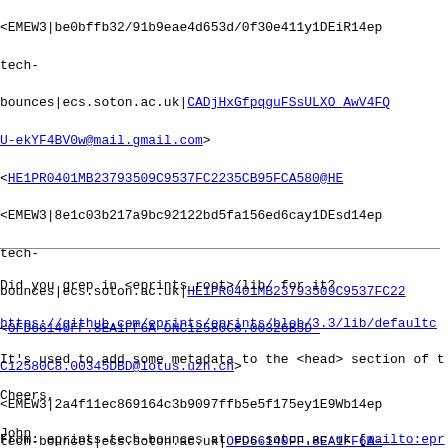<EMEW3|be0bffb32/91b9eae4d653d/0f30e411y1DEiR14ep... tech-bounces|ecs.soton.ac.uk|CADjHxGfpqguFSsULXO_AwV4FQ... U-ekYF4BV0w@mail.gmail.com>
<HE1PR0401MB23793509C9537FC2235CB95FCA580@HE...
<EMEW3|8e1c03b217a9bc92122bd5fa156ed6cay1DEsd14ep... tech-bounces|ecs.soton.ac.uk|HE1PR0401MB23793509C9537FC22...
<OFD66140FF.8EA1FF6A-ONC12580C8.00326B5D-C12580C8.00345DBD@lotus.uzh.ch>
<EMEW3|2a4f11ec869164c3b9097ffb5e5f175ey1E9Wb14ep... tech-bounces|ecs.soton.ac.uk|OFD66140FF.8EA1FF6A-ONC12580C8.00326B5D-C12580C8.00345DBD@lotus.uzh.ch>
Did you grep in <eprints_root>/lib/ for it?
https://github.com/eprints/eprints/blob/3.3/lib/defaultc...
It's used to add some metadata to the <head> section of t...
Cheers,
John
From: eprints-tech-bounces at ecs.soton.ac.uk [mailto:ep...
Sent: 15 February 2017 09:32
To: eprints-tech at ecs.soton.ac.uk